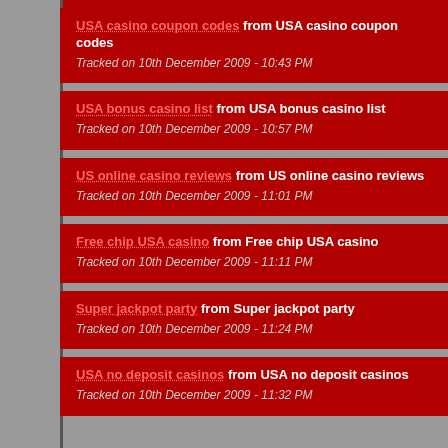USA casino coupon codes from USA casino coupon codes
Tracked on 10th December 2009 - 10:43 PM
USA bonus casino list from USA bonus casino list
Tracked on 10th December 2009 - 10:57 PM
US online casino reviews from US online casino reviews
Tracked on 10th December 2009 - 11:01 PM
Free chip USA casino from Free chip USA casino
Tracked on 10th December 2009 - 11:11 PM
Super jackpot party from Super jackpot party
Tracked on 10th December 2009 - 11:24 PM
USA no deposit casinos from USA no deposit casinos
Tracked on 10th December 2009 - 11:32 PM